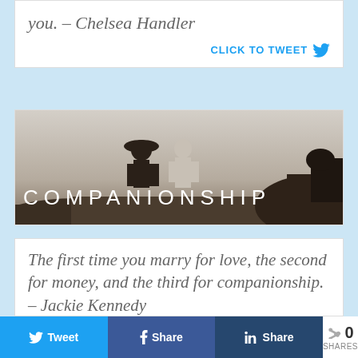you. – Chelsea Handler
CLICK TO TWEET
[Figure (photo): Two people sitting on rocks viewed from behind, one wearing a wide-brimmed hat, with the word COMPANIONSHIP overlaid in large white letters]
The first time you marry for love, the second for money, and the third for companionship. – Jackie Kennedy
0 SHARES